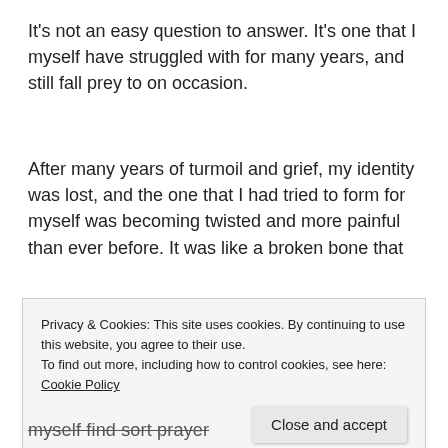It's not an easy question to answer. It's one that I myself have struggled with for many years, and still fall prey to on occasion.
After many years of turmoil and grief, my identity was lost, and the one that I had tried to form for myself was becoming twisted and more painful than ever before. It was like a broken bone that
Privacy & Cookies: This site uses cookies. By continuing to use this website, you agree to their use.
To find out more, including how to control cookies, see here: Cookie Policy
[Close and accept]
myself find sort prayer